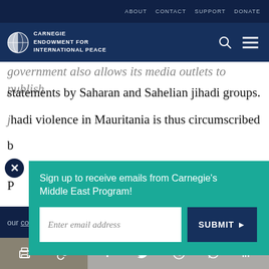ABOUT   CONTACT   SUPPORT   DONATE
[Figure (logo): Carnegie Endowment for International Peace logo with globe icon]
government also allows its media outlets to publish statements by Saharan and Sahelian jihadi groups.
Jihadi violence in Mauritania is thus circumscribed b... d... P...
Sign up to receive emails from Carnegie's Middle East Program!
Enter email address
SUBMIT ▶
our cookie policy.
[Figure (infographic): Social sharing bar with print, link, Facebook, Twitter, WhatsApp, Messenger, LinkedIn icons]